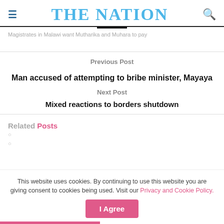THE NATION
Magistrates in Malawi want Mutharika and Muhara to pay
Previous Post
Man accused of attempting to bribe minister, Mayaya
Next Post
Mixed reactions to borders shutdown
Related Posts
This website uses cookies. By continuing to use this website you are giving consent to cookies being used. Visit our Privacy and Cookie Policy.